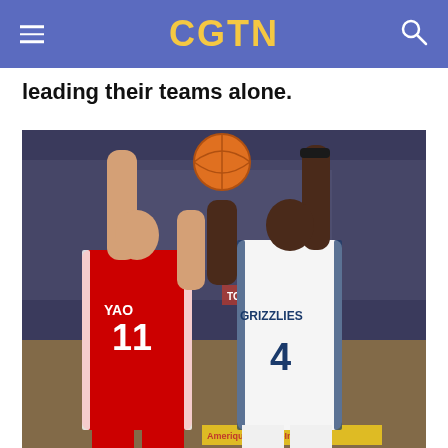CGTN
leading their teams alone.
[Figure (photo): Basketball game photo showing player wearing Houston Rockets jersey number 11 (YAO) in red, jumping to tip off or block against a Memphis Grizzlies player wearing number 4 in white, both reaching up for the ball in an NBA arena.]